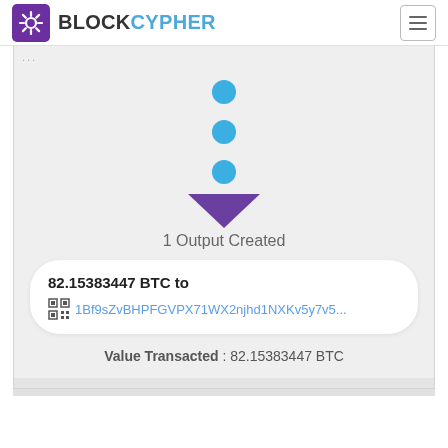BLOCKCYPHER
[Figure (infographic): Three blue dots stacked vertically with a downward-pointing purple triangle arrow below them, indicating transaction flow to output]
1 Output Created
82.15383447 BTC to 1Bf9sZvBHPFGVPX71WX2njhd1NXKv5y7v5...
Value Transacted : 82.15383447 BTC